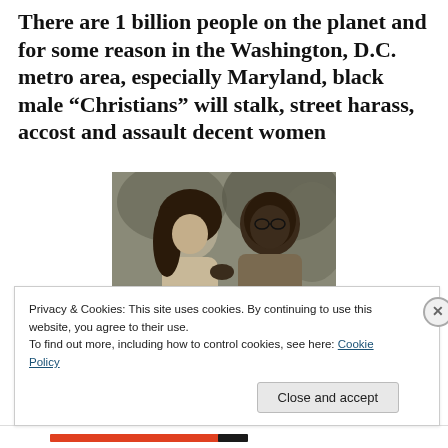There are 1 billion people on the planet and for some reason in the Washington, D.C. metro area, especially Maryland, black male “Christians” will stalk, street harass, accost and assault decent women
[Figure (photo): Sepia-toned vintage photograph of a woman and a man, appearing to struggle or interact intensely, with foliage in the background.]
Privacy & Cookies: This site uses cookies. By continuing to use this website, you agree to their use.
To find out more, including how to control cookies, see here: Cookie Policy
Close and accept